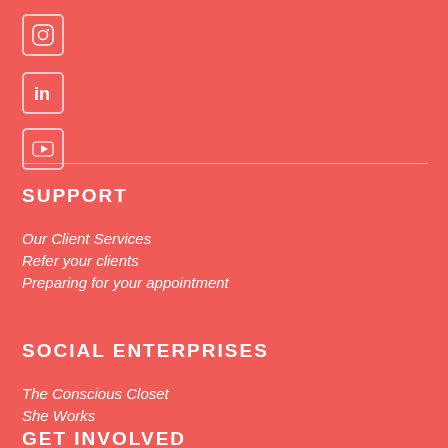[Figure (illustration): Instagram icon inside a rounded square border, white on salmon/coral background]
[Figure (illustration): LinkedIn 'in' icon inside a rounded square border, white on salmon/coral background]
[Figure (illustration): YouTube play button icon inside a rounded square border, white on salmon/coral background]
SUPPORT
Our Client Services
Refer your clients
Preparing for your appointment
SOCIAL ENTERPRISES
The Conscious Closet
She Works
GET INVOLVED